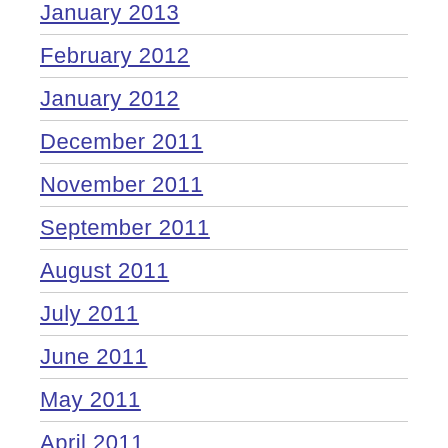January 2013 (partial, top)
February 2012
January 2012
December 2011
November 2011
September 2011
August 2011
July 2011
June 2011
May 2011
April 2011 (partial, bottom)